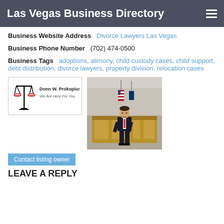Las Vegas Business Directory
Business Website Address   Divorce Lawyers Las Vegas
Business Phone Number   (702) 474-0500
Business Tags   adoptions, alimony, child custody cases, child support, debt distribution, divorce lawyers, property division, relocation cases
[Figure (logo): Donn W. Prokopius, Chtd. law firm logo with scales of justice. Text: 'We Are Here For You']
[Figure (photo): Man in suit standing in a courtroom in front of the judge's bench, with American and Nevada flags in the background.]
Contact listing owner
LEAVE A REPLY